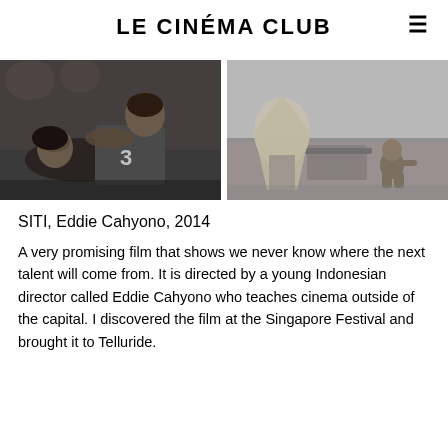LE CINÉMA CLUB
[Figure (photo): Black and white film still showing a woman resting her head on a man's shoulder wearing a jersey with number 3]
[Figure (photo): Black and white film still showing a figure with cloth draped over their head and a child sitting nearby by the water]
SITI, Eddie Cahyono, 2014
A very promising film that shows we never know where the next talent will come from. It is directed by a young Indonesian director called Eddie Cahyono who teaches cinema outside of the capital. I discovered the film at the Singapore Festival and brought it to Telluride.